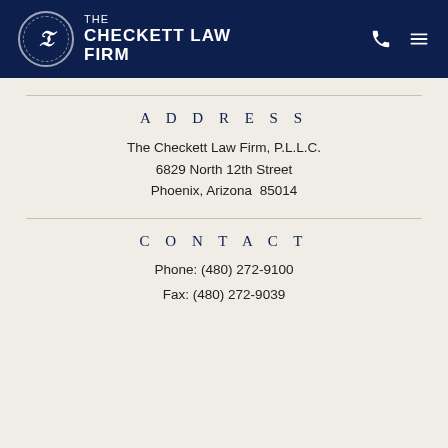[Figure (logo): The Checkett Law Firm logo with circular emblem and firm name in white on navy header]
ADDRESS
The Checkett Law Firm, P.L.L.C.
6829 North 12th Street
Phoenix, Arizona  85014
CONTACT
Phone: (480) 272-9100
Fax: (480) 272-9039